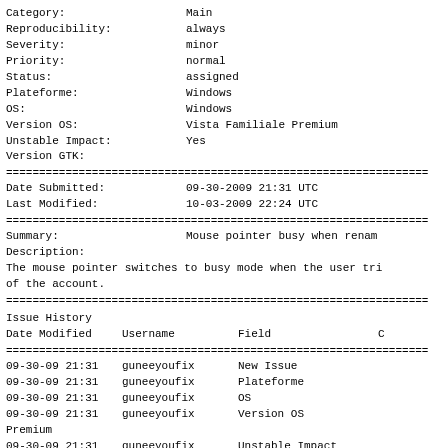| Category: | Main |
| Reproducibility: | always |
| Severity: | minor |
| Priority: | normal |
| Status: | assigned |
| Plateforme: | Windows |
| OS: | Windows |
| Version OS: | Vista Familiale Premium |
| Unstable Impact: | Yes |
| Version GTK: |  |
================================================================
| Date Submitted: | 09-30-2009 21:31 UTC |
| Last Modified: | 10-03-2009 22:24 UTC |
================================================================
Summary:                    Mouse pointer busy when renam
Description:
The mouse pointer switches to busy mode when the user tri
of the account.
================================================================
Issue History
| Date Modified | Username | Field | C |
| --- | --- | --- | --- |
| 09-30-09 21:31 | guneeyoufix | New Issue |  |
| 09-30-09 21:31 | guneeyoufix | Plateforme |  |
| 09-30-09 21:31 | guneeyoufix | OS |  |
| 09-30-09 21:31 | guneeyoufix | Version OS |  |
| Premium |  |  |  |
| 09-30-09 21:31 | guneeyoufix | Unstable Impact |  |
| 10-03-09 22:24 | pbiava | Status |  |